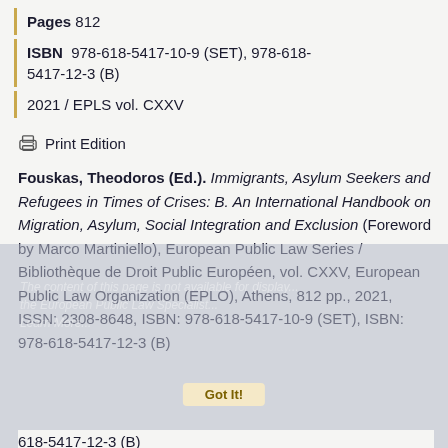Pages 812
ISBN 978-618-5417-10-9 (SET), 978-618-5417-12-3 (B)
2021 / EPLS vol. CXXV
Print Edition
Fouskas, Theodoros (Ed.). Immigrants, Asylum Seekers and Refugees in Times of Crises: B. An International Handbook on Migration, Asylum, Social Integration and Exclusion (Foreword by Marco Martiniello), European Public Law Series / Bibliothèque de Droit Public Européen, vol. CXXV, European Public Law Organization (EPLO), Athens, 812 pp., 2021, ISSN: 2308-8648, ISBN: 978-618-5417-10-9 (SET), ISBN: 978-618-5417-12-3 (B)